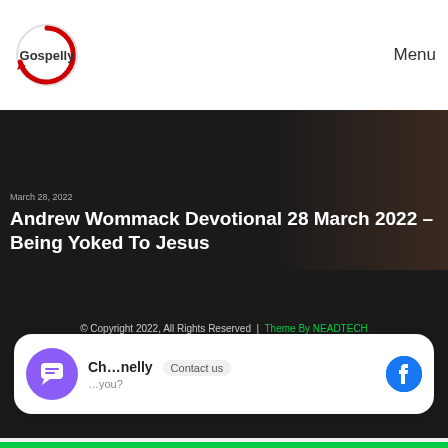Gospelly | Menu
Andrew Wommack Devotional 28 March 2022 – Being Yoked To Jesus
© Copyright 2022, All Rights Reserved | Theme By NEADTECH | Music 🎧 MOVIES 🎬 News 📰 Album & EP Daily Devotional 📖 VIDEOS ◀ eBook 📚 Mixtape 🎧 Sermon 🎙 Podcast 🎧 Spoken Word 🗣 Upload Videos Here My Account 👤
Ch...nelly Contact us ...you?